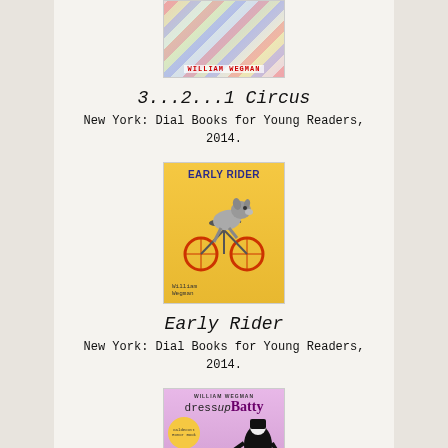[Figure (illustration): Book cover of '3...2...1 Circus' by William Wegman, featuring colorful circus-themed imagery with stripes and author name]
3...2...1 Circus
New York: Dial Books for Young Readers, 2014.
[Figure (illustration): Book cover of 'Early Rider' by William Wegman, featuring a dog on a bicycle against a yellow background]
Early Rider
New York: Dial Books for Young Readers, 2014.
[Figure (illustration): Book cover of 'dress up Batty' by William Wegman, pink/purple background with a costumed figure]